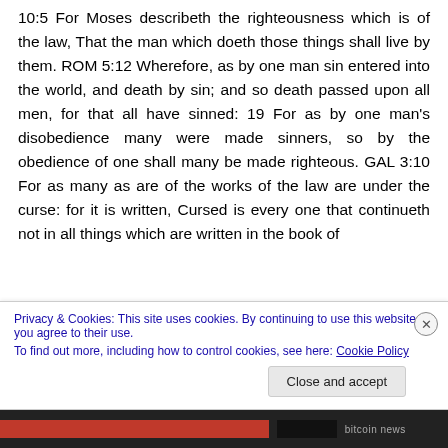10:5 For Moses describeth the righteousness which is of the law, That the man which doeth those things shall live by them. ROM 5:12 Wherefore, as by one man sin entered into the world, and death by sin; and so death passed upon all men, for that all have sinned: 19 For as by one man's disobedience many were made sinners, so by the obedience of one shall many be made righteous. GAL 3:10 For as many as are of the works of the law are under the curse: for it is written, Cursed is every one that continueth not in all things which are written in the book of
Privacy & Cookies: This site uses cookies. By continuing to use this website, you agree to their use.
To find out more, including how to control cookies, see here: Cookie Policy
Close and accept